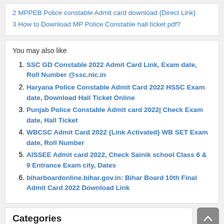2 MPPEB Police constable Admit card download {Direct Link}
3 How to Download MP Police Constable hall ticket pdf?
You may also like
1. SSC GD Constable 2022 Admit Card Link, Exam date, Roll Number @ssc.nic.in
2. Haryana Police Constable Admit Card 2022 HSSC Exam date, Download Hall Ticket Online
3. Punjab Police Constable Admit card 2022| Check Exam date, Hall Ticket
4. WBCSC Admit Card 2022 {Link Activated} WB SET Exam date, Roll Number
5. AISSEE Admit card 2022, Check Sainik school Class 6 & 9 Entrance Exam city, Dates
6. biharboardonline.bihar.gov.in: Bihar Board 10th Final Admit Card 2022 Download Link
Categories